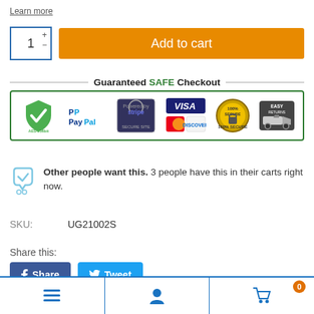Learn more
[Figure (screenshot): Quantity selector with 1 and +/- controls, and orange Add to cart button]
[Figure (infographic): Guaranteed SAFE Checkout banner with PayPal, Stripe, Visa, MasterCard, American Express, Discover, 100% Secure and Easy Returns logos inside a green border]
Other people want this. 3 people have this in their carts right now.
SKU:     UG21002S
Share this:
[Figure (screenshot): Facebook Share button (dark blue) and Twitter Tweet button (light blue)]
[Figure (screenshot): Bottom navigation bar with hamburger menu, user icon, and cart icon with 0 badge]